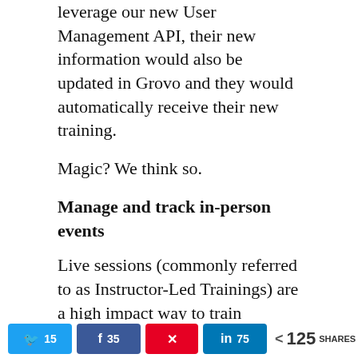leverage our new User Management API, their new information would also be updated in Grovo and they would automatically receive their new training.
Magic? We think so.
Manage and track in-person events
Live sessions (commonly referred to as Instructor-Led Trainings) are a high impact way to train employees. Even though learning has been increasingly moving online and on-demand, live sessions continue to have immense value, especially for teaching novices new
Social share bar: Twitter 15, Facebook 35, Pinterest, LinkedIn 75, 125 SHARES